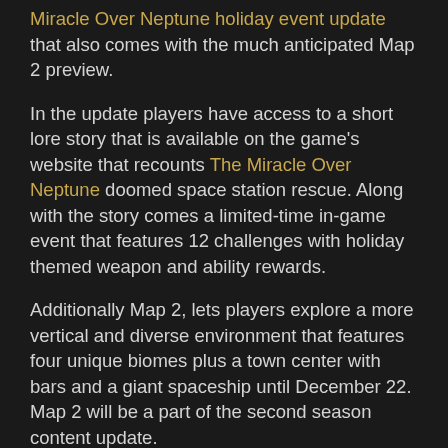Miracle Over Neptune holiday event update that also comes with the much anticipated Map 2 preview.
In the update players have access to a short lore story that is available on the game's website that recounts The Miracle Over Neptune doomed space station rescue. Along with the story comes a limited-time in-game event that features 12 challenges with holiday themed weapon and ability rewards.
Additionally Map 2, lets players explore a more vertical and diverse environment that features four unique biomes plus a town center with bars and a giant spaceship until December 22. Map 2 will be a part of the second season content update.
The Cycle is in free to play early access for Windows PC exclusively on the Epic Games Store. Players can acquire the Fortuna Pass, a special season pass available in both free and premium tiers that features over